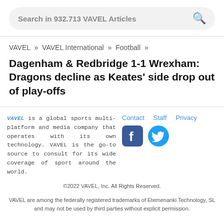Search in 932.713 VAVEL Articles
VAVEL » VAVEL International » Football »
Dagenham & Redbridge 1-1 Wrexham: Dragons decline as Keates' side drop out of play-offs
VAVEL is a global sports multi-platform and media company that operates with its own technology. VAVEL is the go-to source to consult for its wide coverage of sport around the world.
Contact   Staff   Privacy
©2022 VAVEL, Inc. All Rights Reserved. VAVEL are among the federally registered trademarks of Etemenanki Technology, SL and may not be used by third parties without explicit permission.
//